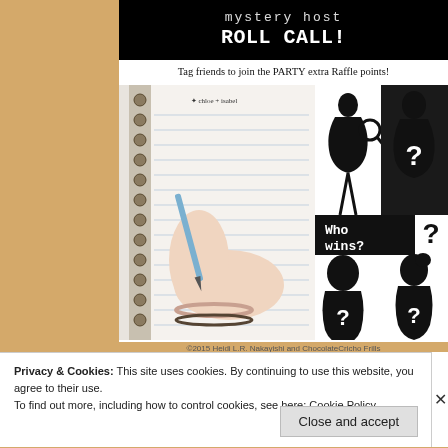[Figure (infographic): Mystery Host Roll Call promotional image with 'ROLL CALL!' text banner at top, tagline 'Tag friends to join the PARTY extra Raffle points!', left side shows a hand writing in a notebook with Chloe + Isabel branding, right side shows black silhouettes of mystery figures with question marks and 'Who wins?' text]
©2015 Heidi L.R. Nakayishi and ChocolateCricho Frills
Privacy & Cookies: This site uses cookies. By continuing to use this website, you agree to their use.
To find out more, including how to control cookies, see here: Cookie Policy
Close and accept